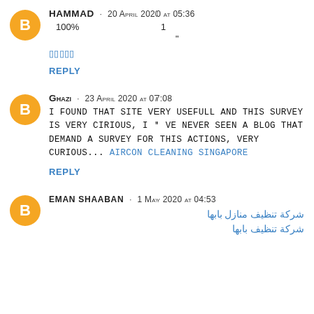[Figure (other): Blogger avatar icon orange circle with white B letter]
HAMMAD · 20 April 2020 at 05:36
100% 1
“”
ردخبم (Arabic text in blue)
REPLY
[Figure (other): Blogger avatar icon orange circle with white B letter]
Ghazi · 23 April 2020 at 07:08
I found that site very usefull and this survey is very cirious, I've never seen a blog that demand a survey for this actions, very curious... AIRCON CLEANING SINGAPORE
REPLY
[Figure (other): Blogger avatar icon orange circle with white B letter]
EMAN SHAABAN · 1 May 2020 at 04:53
شركة تنظيف منازل بابها
شركة تنظيف بابها